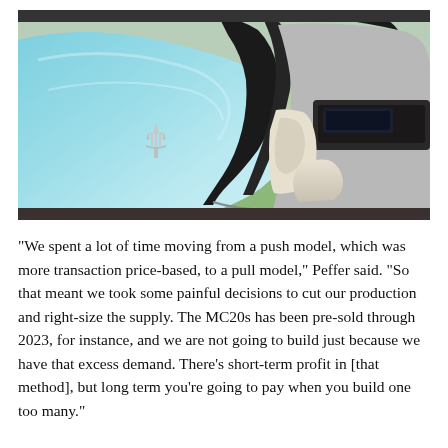[Figure (photo): Close-up photograph of a light blue Maserati sports car with butterfly door open, showing the trident logo on the door panel and white interior with dashboard visible. People and grass visible in background.]
"We spent a lot of time moving from a push model, which was more transaction price-based, to a pull model," Peffer said. "So that meant we took some painful decisions to cut our production and right-size the supply. The MC20s has been pre-sold through 2023, for instance, and we are not going to build just because we have that excess demand. There's short-term profit in [that method], but long term you're going to pay when you build one too many."